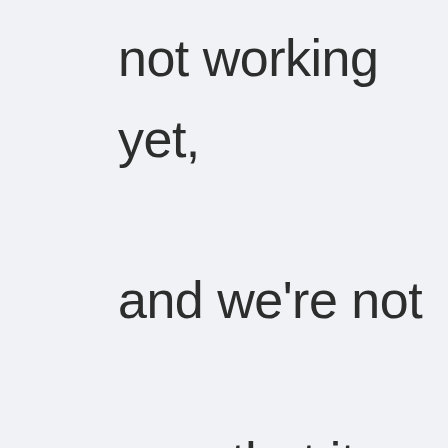not working yet, and we're not sure that it will in decades to come. The